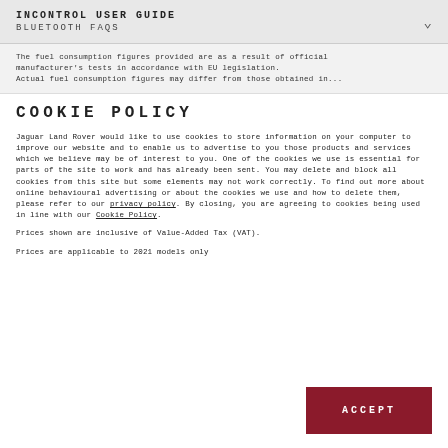INCONTROL USER GUIDE
BLUETOOTH FAQS
The fuel consumption figures provided are as a result of official manufacturer's tests in accordance with EU legislation. Actual fuel consumption figures may differ from those obtained in...
COOKIE POLICY
Jaguar Land Rover would like to use cookies to store information on your computer to improve our website and to enable us to advertise to you those products and services which we believe may be of interest to you. One of the cookies we use is essential for parts of the site to work and has already been sent. You may delete and block all cookies from this site but some elements may not work correctly. To find out more about online behavioural advertising or about the cookies we use and how to delete them, please refer to our privacy policy. By closing, you are agreeing to cookies being used in line with our Cookie Policy.
Prices shown are inclusive of Value-Added Tax (VAT).
Prices are applicable to 2021 models only